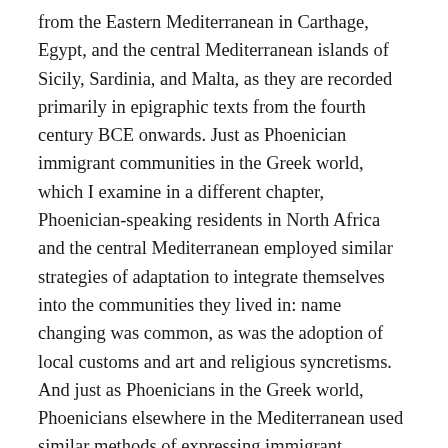from the Eastern Mediterranean in Carthage, Egypt, and the central Mediterranean islands of Sicily, Sardinia, and Malta, as they are recorded primarily in epigraphic texts from the fourth century BCE onwards. Just as Phoenician immigrant communities in the Greek world, which I examine in a different chapter, Phoenician-speaking residents in North Africa and the central Mediterranean employed similar strategies of adaptation to integrate themselves into the communities they lived in: name changing was common, as was the adoption of local customs and art and religious syncretisms. And just as Phoenicians in the Greek world, Phoenicians elsewhere in the Mediterranean used similar methods of expressing immigrant identities, especially by reference to their city of origin on the eastern Mediterranean coast. The